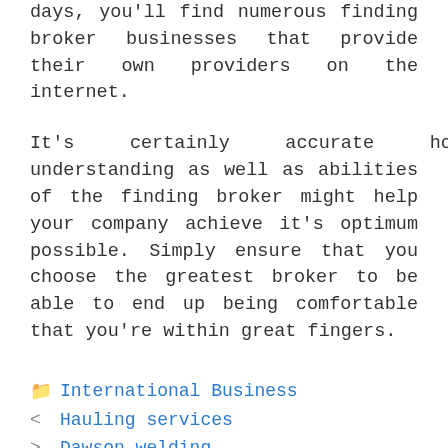days, you'll find numerous finding broker businesses that provide their own providers on the internet.
It's certainly accurate how the understanding as well as abilities of the finding broker might help your company achieve it's optimum possible. Simply ensure that you choose the greatest broker to be able to end up being comfortable that you're within great fingers.
International Business
Hauling services
Dawson welding